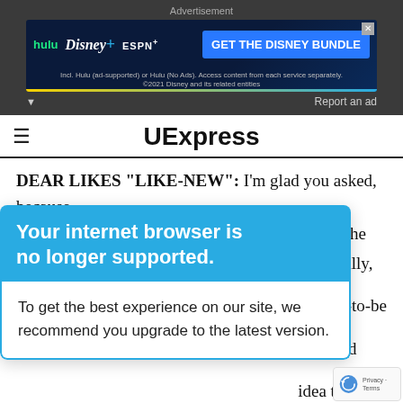[Figure (screenshot): Advertisement banner for Disney Bundle (Hulu, Disney+, ESPN+) with blue CTA button]
UExpress
DEAR LIKES "LIKE-NEW": I'm glad you asked, because a note in the shower invitation would be tacky. The
[Figure (screenshot): Browser upgrade popup overlay with blue header 'Your internet browser is no longer supported.' and body text 'To get the best experience on our site, we recommend you upgrade to the latest version.']
is verbally, mother-to-be ondhand idea to c